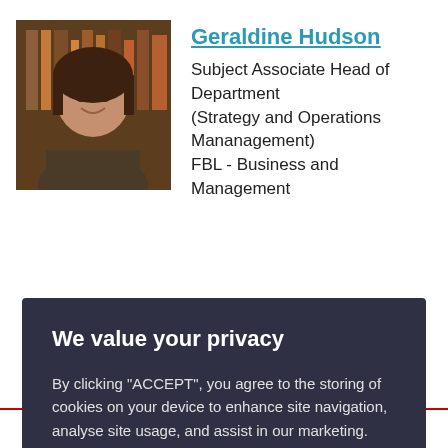[Figure (photo): Profile photo of Geraldine Hudson, a woman with dark hair, smiling, against a bookshelf background]
Geraldine Hudson
Subject Associate Head of Department (Strategy and Operations Mananagement) FBL - Business and Management
[Figure (screenshot): Cookie consent overlay with dark background. Title: We value your privacy. Body: By clicking "ACCEPT", you agree to the storing of cookies on your device to enhance site navigation, analyse site usage, and assist in our marketing. Two buttons: ACCEPT and VIEW COOKIE SETTINGS]
+4411732 63405